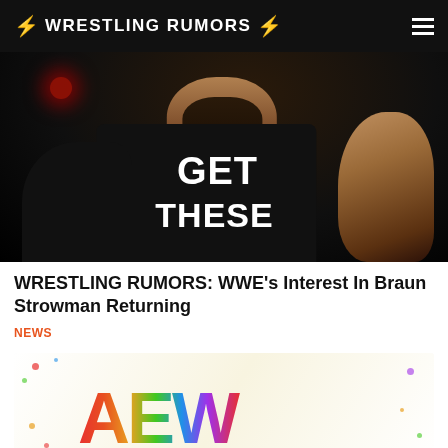WRESTLING RUMORS
[Figure (photo): A large wrestler with a beard wearing a black sleeveless shirt reading 'GET THESE', shown from shoulders down, dark arena lighting with a red light visible in the background]
WRESTLING RUMORS: WWE's Interest In Braun Strowman Returning
NEWS
[Figure (photo): AEW (All Elite Wrestling) colorful logo with rainbow/multicolor letters on a light background with confetti]